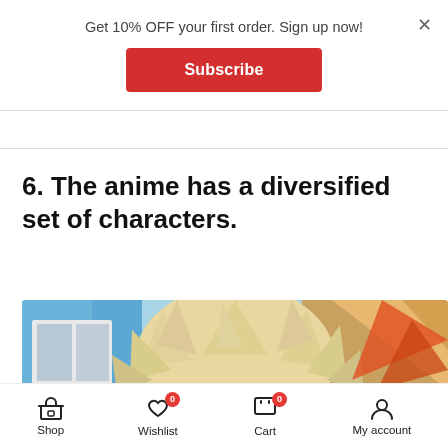Get 10% OFF your first order. Sign up now!
Subscribe
6. The anime has a diversified set of characters.
[Figure (illustration): Anime character with spiky blonde hair shown from above, with dynamic background elements in blue and orange.]
Shop | Wishlist 0 | Cart 0 | My account